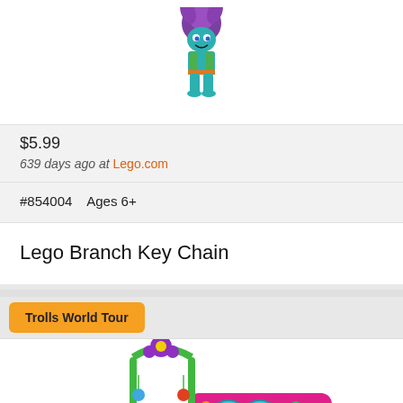[Figure (photo): Lego Branch Trolls minifigure with purple hair and teal body on white background]
$5.99
639 days ago at Lego.com
#854004    Ages 6+
Lego Branch Key Chain
Trolls World Tour
[Figure (photo): Lego Trolls World Tour set with colorful bus and minifigures including Poppy]